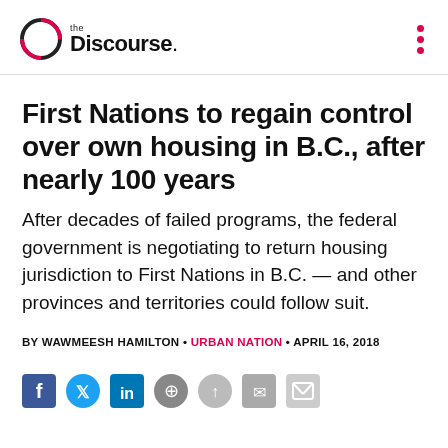the Discourse.
First Nations to regain control over own housing in B.C., after nearly 100 years
After decades of failed programs, the federal government is negotiating to return housing jurisdiction to First Nations in B.C. — and other provinces and territories could follow suit.
BY WAWMEESH HAMILTON • URBAN NATION • APRIL 16, 2018